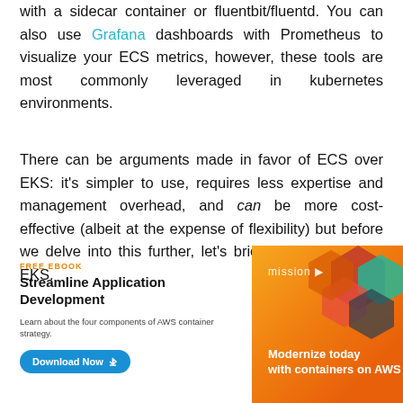with a sidecar container or fluentbit/fluentd. You can also use Grafana dashboards with Prometheus to visualize your ECS metrics, however, these tools are most commonly leveraged in kubernetes environments.
There can be arguments made in favor of ECS over EKS: it's simpler to use, requires less expertise and management overhead, and can be more cost-effective (albeit at the expense of flexibility) but before we delve into this further, let's briefly review Amazon EKS.
[Figure (infographic): Advertisement panel: Left side shows a free ebook promo for 'Streamline Application Development' with a 'Download Now' button. Right side shows an orange/yellow branded card with geometric shapes and text 'Modernize today with containers on AWS'.]